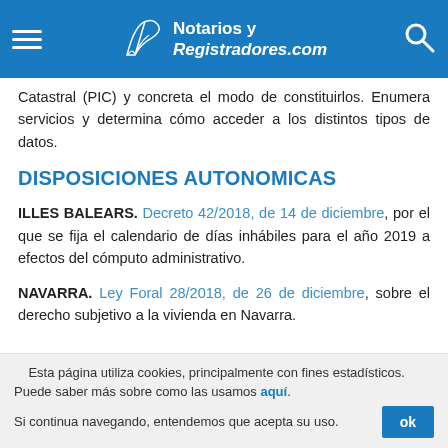Notarios y Registradores.com
Catastral (PIC) y concreta el modo de constituirlos. Enumera servicios y determina cómo acceder a los distintos tipos de datos.
DISPOSICIONES AUTONOMICAS
ILLES BALEARS. Decreto 42/2018, de 14 de diciembre, por el que se fija el calendario de días inhábiles para el año 2019 a efectos del cómputo administrativo.
NAVARRA. Ley Foral 28/2018, de 26 de diciembre, sobre el derecho subjetivo a la vivienda en Navarra.
Esta página utiliza cookies, principalmente con fines estadísticos. Puede saber más sobre como las usamos aquí. Si continua navegando, entendemos que acepta su uso.